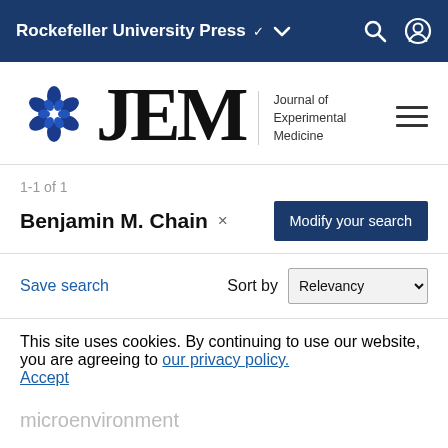Rockefeller University Press
[Figure (logo): JEM Journal of Experimental Medicine logo with blue circular emblem and large serif JEM text]
1-1 of 1
Benjamin M. Chain ×
Modify your search
Save search
Sort by Relevancy
JOURNAL ARTICLES
Urine-derived lymphocytes as a non-invasive measure of the bladder tumor immune microenvironment
This site uses cookies. By continuing to use our website, you are agreeing to our privacy policy. Accept